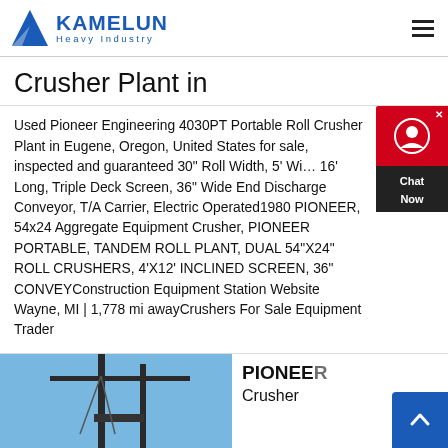[Figure (logo): Kamelun Heavy Industry logo with blue K triangle icon and blue text]
Crusher Plant in
Used Pioneer Engineering 4030PT Portable Roll Crusher Plant in Eugene, Oregon, United States for sale, inspected and guaranteed 30" Roll Width, 5' Wi… 16' Long, Triple Deck Screen, 36" Wide End Discharge Conveyor, T/A Carrier, Electric Operated1980 PIONEER, 54x24 Aggregate Equipment Crusher, PIONEER PORTABLE, TANDEM ROLL PLANT, DUAL 54"X24" ROLL CRUSHERS, 4'X12' INCLINED SCREEN, 36" CONVEYConstruction Equipment Station Website Wayne, MI | 1,778 mi awayCrushers For Sale Equipment Trader
[Figure (photo): Photo of a crusher/crane equipment against blue sky background]
PIONEER Crusher